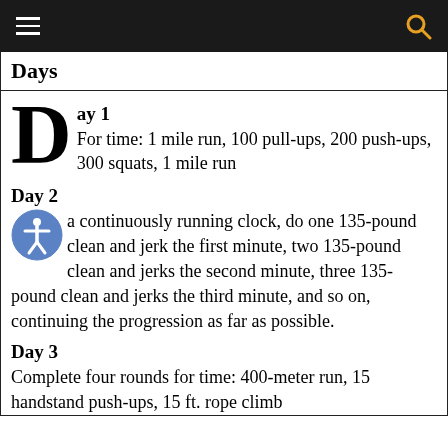Days
Day 1
For time: 1 mile run, 100 pull-ups, 200 push-ups, 300 squats, 1 mile run
Day 2
a continuously running clock, do one 135-pound clean and jerk the first minute, two 135-pound clean and jerks the second minute, three 135-pound clean and jerks the third minute, and so on, continuing the progression as far as possible.
Day 3
Complete four rounds for time: 400-meter run, 15 handstand push-ups, 15 ft. rope climb